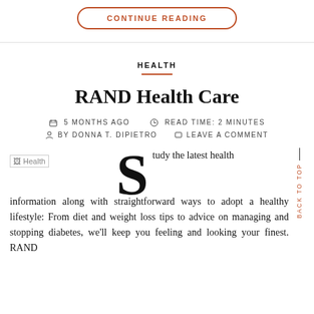CONTINUE READING
HEALTH
RAND Health Care
5 MONTHS AGO   READ TIME: 2 MINUTES
BY DONNA T. DIPIETRO   LEAVE A COMMENT
[Figure (photo): Health image placeholder (broken image icon)]
Study the latest health information along with straightforward ways to adopt a healthy lifestyle: From diet and weight loss tips to advice on managing and stopping diabetes, we'll keep you feeling and looking your finest. RAND